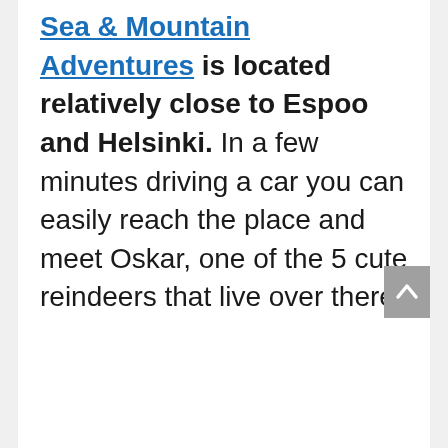Sea & Mountain Adventures is located relatively close to Espoo and Helsinki. In a few minutes driving a car you can easily reach the place and meet Oskar, one of the 5 cute reindeers that live over there.